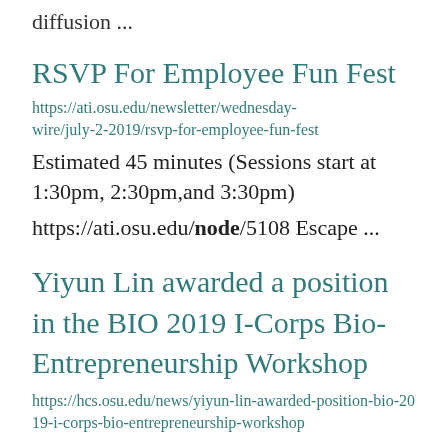diffusion ...
RSVP For Employee Fun Fest
https://ati.osu.edu/newsletter/wednesday-wire/july-2-2019/rsvp-for-employee-fun-fest
Estimated 45 minutes (Sessions start at 1:30pm, 2:30pm,and 3:30pm)
https://ati.osu.edu/node/5108 Escape ...
Yiyun Lin awarded a position in the BIO 2019 I-Corps Bio-Entrepreneurship Workshop
https://hcs.osu.edu/news/yiyun-lin-awarded-position-bio-2019-i-corps-bio-entrepreneurship-workshop
evidence-based entrepreneurship as